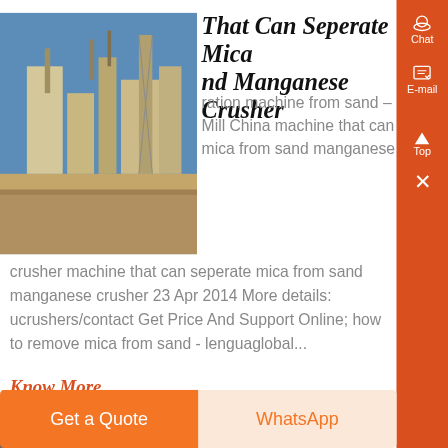[Figure (photo): Industrial plant/crusher facility with structures against a blue sky]
That Can Seperate Mica nd Manganese Crusher
ration machine from sand – Mill China machine that can mica from sand manganese crusher machine that can seperate mica from sand manganese crusher 23 Apr 2014 More details: ucrushers/contact Get Price And Support Online; how to remove mica from sand - lenguaglobal...
Know More
[Figure (photo): Close-up of mica ore mineral texture]
her in the Mica Ore tion Processing Plant .
Get a Quote
WhatsApp